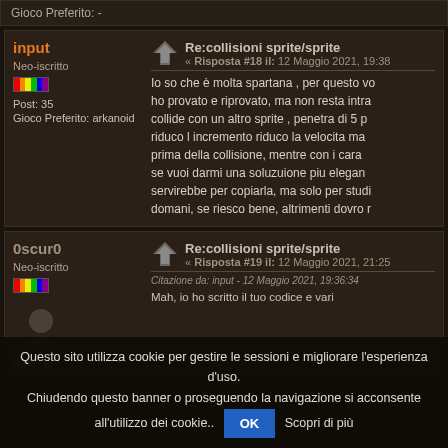Gioco Preferito: -
input
Neo-iscritto
Post: 35
Gioco Preferito: arkanoid
Re:collisioni sprite/sprite
« Risposta #18 il: 12 Maggio 2021, 19:38
Io so che è molta spartana , per questo vo ho provato e riprovato, ma non resta intra collide con un altro sprite , penetra di 5 p riduco l incremento riduco la velocita ma prima della collisione, mentre con i cara se vuoi darmi una soluzione piu elegan servirebbe per copiarla, ma solo per studi domani, se riesco bene, altrimenti dovro r
0scur0
Neo-iscritto
Re:collisioni sprite/sprite
« Risposta #19 il: 12 Maggio 2021, 21:25
Citazione da: input - 12 Maggio 2021, 19:36:34
Post: 34
Mah, io ho scritto il tuo codice e vari
Questo sito utilizza cookie per gestire le sessioni e migliorare l'esperienza d'uso. Chiudendo questo banner o proseguendo la navigazione si acconsente all'utilizzo dei cookie..
Scopri di più